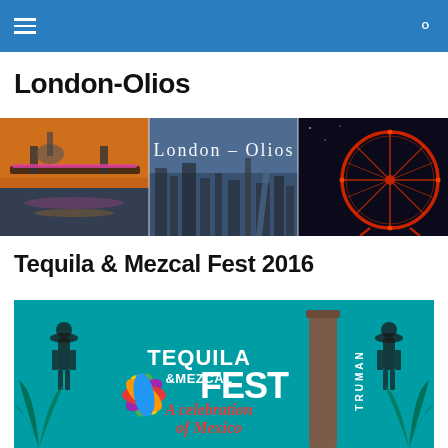London-Olios navigation bar
London-Olios
[Figure (photo): Three-panel London cityscape banner: left panel shows a bridge with colorful lights reflected on the Thames at dusk, center panel shows London skyline with the Shard and text 'London - Olios', right panel shows the illuminated London Eye at night.]
Tequila & Mezcal Fest 2016
[Figure (photo): Tequila & Mezcal Fest 2016 promotional banner on teal background. Features text 'TEQUILA & MEZCAL FEST' with 'A celebration of Mexico' in red script, a colorful flower logo in yellow/green/purple/red petals, a tall brick chimney labeled 'TRUMAN', agave plants, and two silhouetted figures in sombreros.]